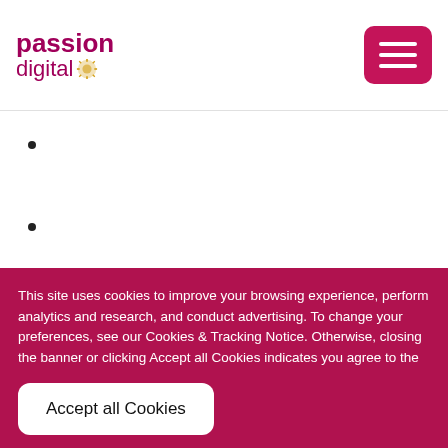[Figure (logo): Passion Digital logo with pink/maroon text and sunburst icon]
[Figure (other): Pink hamburger menu button with three white lines]
This site uses cookies to improve your browsing experience, perform analytics and research, and conduct advertising. To change your preferences, see our Cookies & Tracking Notice. Otherwise, closing the banner or clicking Accept all Cookies indicates you agree to the use of cookies on your device. Cookies & Privacy Notice
Accept all Cookies